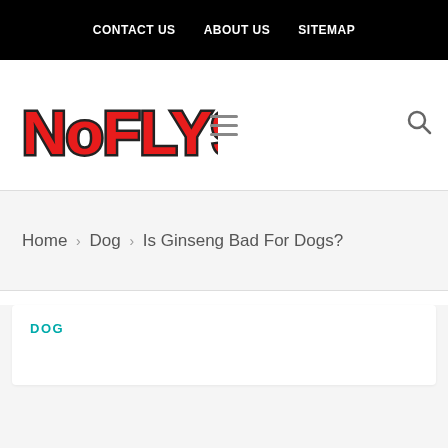CONTACT US   ABOUT US   SITEMAP
[Figure (logo): NoFLY90 logo in red bold stylized text with black outline]
Home > Dog > Is Ginseng Bad For Dogs?
DOG